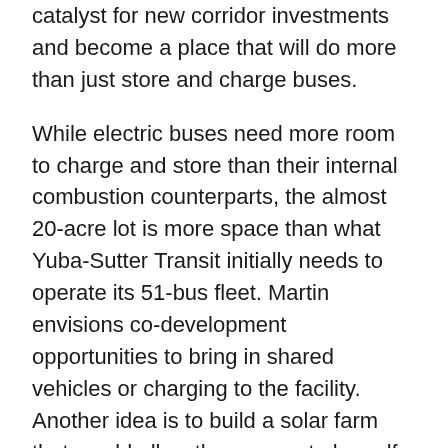catalyst for new corridor investments and become a place that will do more than just store and charge buses.
While electric buses need more room to charge and store than their internal combustion counterparts, the almost 20-acre lot is more space than what Yuba-Sutter Transit initially needs to operate its 51-bus fleet. Martin envisions co-development opportunities to bring in shared vehicles or charging to the facility. Another idea is to build a solar farm that would allow the agency to be self-reliant, and would support bus charging if there are disruptions in power. He is open to all new ideas. Whatever the property is used for, it will depend largely on available funding such as new grants. Martin dreams of a transit facility driven by a community vision: "We